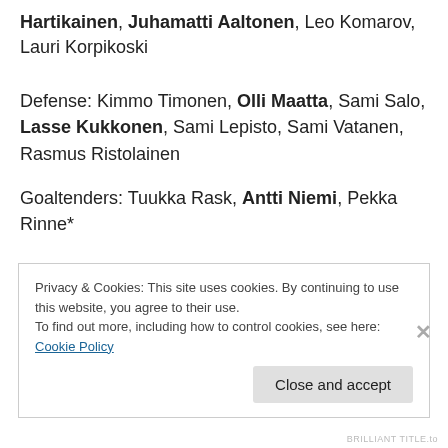Hartikainen, Juhamatti Aaltonen, Leo Komarov, Lauri Korpikoski
Defense: Kimmo Timonen, Olli Maatta, Sami Salo, Lasse Kukkonen, Sami Lepisto, Sami Vatanen, Rasmus Ristolainen
Goaltenders: Tuukka Rask, Antti Niemi, Pekka Rinne*
Privacy & Cookies: This site uses cookies. By continuing to use this website, you agree to their use.
To find out more, including how to control cookies, see here: Cookie Policy